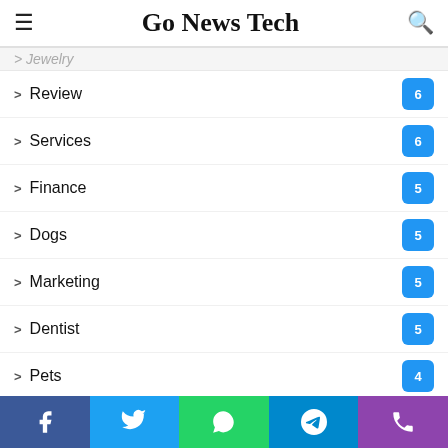Go News Tech
Jewelry (partial, top)
Review 6
Services 6
Finance 5
Dogs 5
Marketing 5
Dentist 5
Pets 4
Security 4
Data 4
Loan 3
Skin Care (up arrow)
Social bar: Facebook, Twitter, WhatsApp, Telegram, Phone